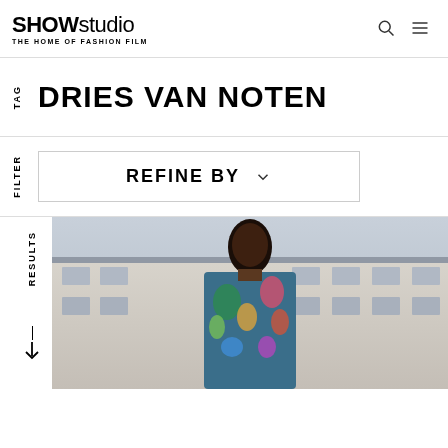SHOWstudio THE HOME OF FASHION FILM
DRIES VAN NOTEN
FILTER
REFINE BY
RESULTS
[Figure (photo): Fashion photo of a young man wearing a colorful tropical print hoodie, photographed outdoors in front of a classical European building. Dries Van Noten collection.]